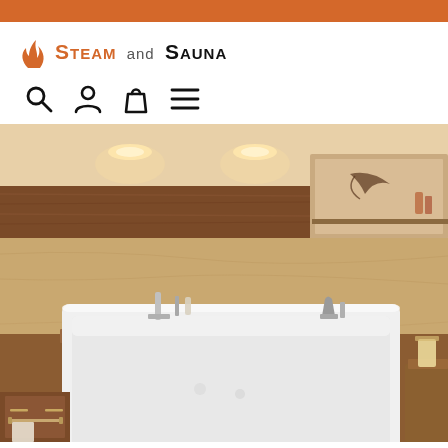[Figure (logo): Steam and Sauna logo with flame icon and stylized text]
[Figure (screenshot): Navigation icons: search magnifying glass, user account person icon, shopping bag, hamburger menu]
[Figure (photo): Luxury bathroom with a white drop-in bathtub set in a marble surround with wooden accent panel behind, wall niches with decorative items, chrome and brushed nickel faucets, warm recessed lighting above the niche wall]